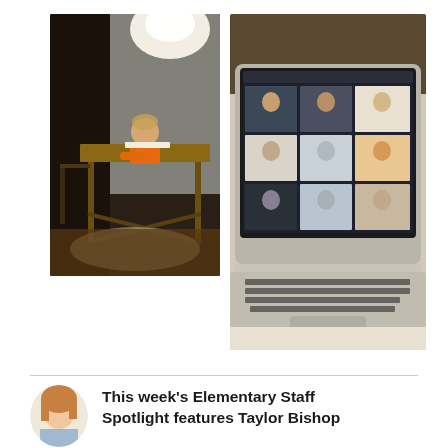[Figure (photo): Child sitting at a dining table doing schoolwork/homework in a home setting, dim room with curtains in background]
[Figure (photo): A MacBook Air laptop showing a video call (Zoom/Google Meet) with multiple children in a grid view, keyboard and trackpad visible]
[Figure (photo): Circular avatar/headshot of a woman with blonde/red hair, used as staff spotlight profile photo]
This week's Elementary Staff Spotlight features Taylor Bishop